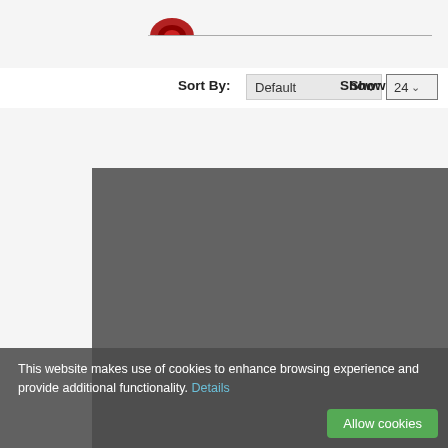[Figure (logo): Partial red logo/icon at the top of the page]
Sort By: Default   Show: 24
[Figure (screenshot): Large grey/dark placeholder image area occupying the center-bottom of the page]
This website makes use of cookies to enhance browsing experience and provide additional functionality. Details
Allow cookies